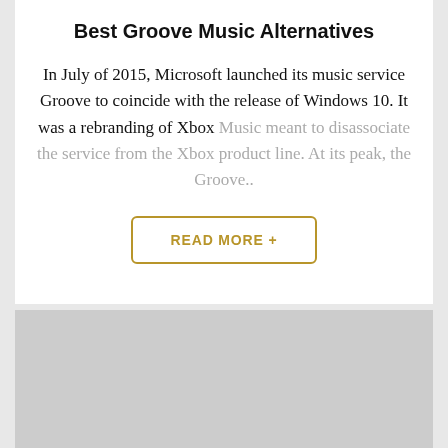Best Groove Music Alternatives
In July of 2015, Microsoft launched its music service Groove to coincide with the release of Windows 10. It was a rebranding of Xbox Music meant to disassociate the service from the Xbox product line. At its peak, the Groove..
READ MORE +
[Figure (photo): Gray placeholder image block at the bottom of the page]